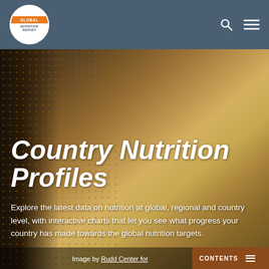Global Nutrition Report
Country Nutrition Profiles
Explore the latest data on nutrition at global, regional and country level, with interactive charts that let you see what progress your country has made towards the global nutrition targets.
Image by Rudd Center for
CONTENTS